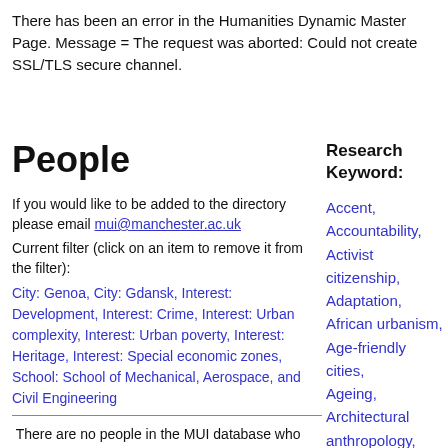There has been an error in the Humanities Dynamic Master Page. Message = The request was aborted: Could not create SSL/TLS secure channel.
People
Research Keyword:
If you would like to be added to the directory please email mui@manchester.ac.uk
Current filter (click on an item to remove it from the filter):
City: Genoa, City: Gdansk, Interest: Development, Interest: Crime, Interest: Urban complexity, Interest: Urban poverty, Interest: Heritage, Interest: Special economic zones, School: School of Mechanical, Aerospace, and Civil Engineering
There are no people in the MUI database who meet your search criteria
Accent, Accountability, Activist citizenship, Adaptation, African urbanism, Age-friendly cities, Ageing, Architectural anthropology, Architectural drawing, Architectural ethnography, Architecture, Art, Aspiration, Atmosphere, Austerity,